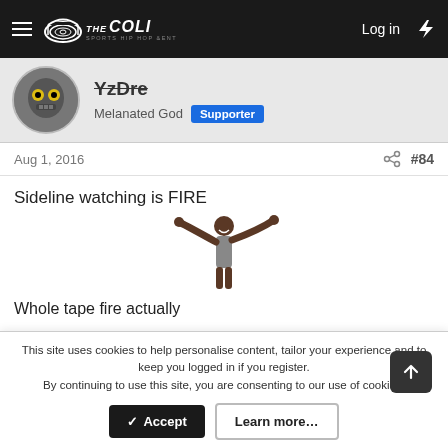THE COLI — Log in
YzDre
Melanated God  Supporter
Aug 1, 2016  #84
Sideline watching is FIRE
[Figure (illustration): Person with arms outstretched looking upward, meme-style image]
Whole tape fire actually
If you reading this and haven't listened to the tape yet, ignore these old nikkas in their dusty 8ball jackets calling this shyt Wack.
It's not, at all.
This site uses cookies to help personalise content, tailor your experience and to keep you logged in if you register.
By continuing to use this site, you are consenting to our use of cookies.